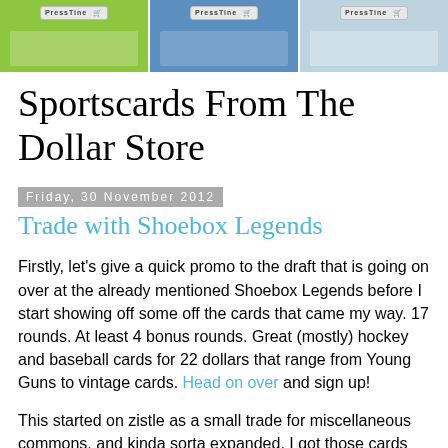[Figure (illustration): Header banner with three panels showing PressTine branded sports card images on green, blue, and light blue backgrounds]
Sportscards From The Dollar Store
Friday, 30 November 2012
Trade with Shoebox Legends
Firstly, let's give a quick promo to the draft that is going on over at the already mentioned Shoebox Legends before I start showing off some off the cards that came my way. 17 rounds. At least 4 bonus rounds. Great (mostly) hockey and baseball cards for 22 dollars that range from Young Guns to vintage cards. Head on over and sign up!
This started on zistle as a small trade for miscellaneous commons, and kinda sorta expanded. I got those cards together. Then I went to a show, where I found one of the 10 cards on his top 10 wanted list. And then I thought "Hold off for a bit. I'm going to the Expo. Maybe I'll find more goodies